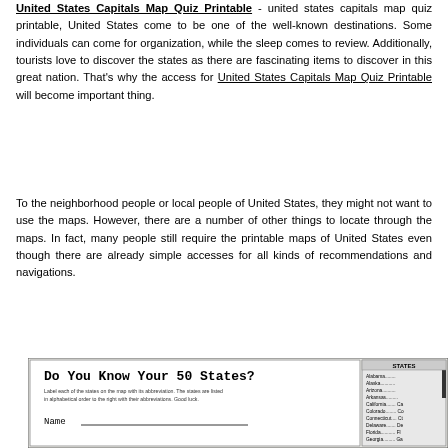United States Capitals Map Quiz Printable - united states capitals map quiz printable, United States come to be one of the well-known destinations. Some individuals can come for organization, while the sleep comes to review. Additionally, tourists love to discover the states as there are fascinating items to discover in this great nation. That's why the access for United States Capitals Map Quiz Printable will become important thing.
To the neighborhood people or local people of United States, they might not want to use the maps. However, there are a number of other things to locate through the maps. In fact, many people still require the printable maps of United States even though there are already simple accesses for all kinds of recommendations and navigations.
[Figure (other): A quiz worksheet titled 'Do You Know Your 50 States?' with instructions to label each state with its abbreviation, a name line, and a partial list of states with abbreviations including Alabama, Alaska, Arizona, Arkansas, California, Colorado, Connecticut, Delaware, Florida, Georgia.]